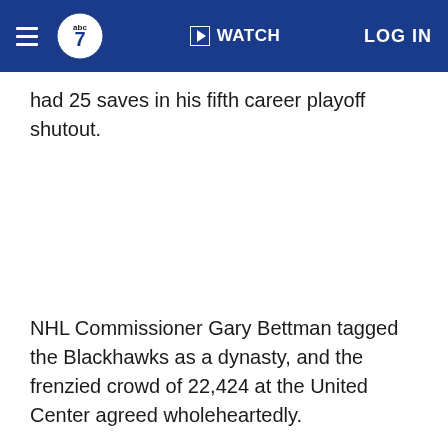WATCH  LOG IN
had 25 saves in his fifth career playoff shutout.
NHL Commissioner Gary Bettman tagged the Blackhawks as a dynasty, and the frenzied crowd of 22,424 at the United Center agreed wholeheartedly.